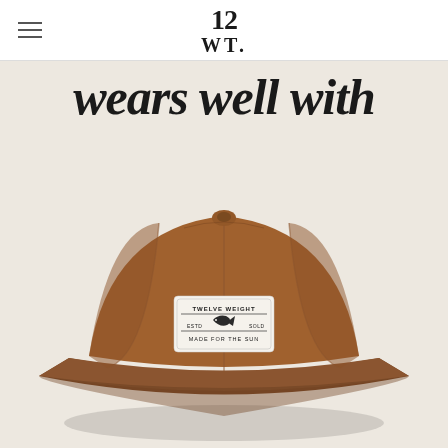12 WT.
wears well with
[Figure (photo): A brown canvas five-panel camp cap with a white woven label on the front that reads 'TWELVE WEIGHT ESTD SOLD MADE FOR THE SUN', photographed against a cream/off-white background.]